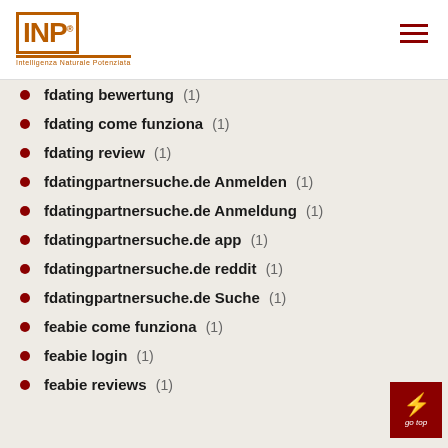INP logo and navigation
fdating bewertung (1)
fdating come funziona (1)
fdating review (1)
fdatingpartnersuche.de Anmelden (1)
fdatingpartnersuche.de Anmeldung (1)
fdatingpartnersuche.de app (1)
fdatingpartnersuche.de reddit (1)
fdatingpartnersuche.de Suche (1)
feabie come funziona (1)
feabie login (1)
feabie reviews (1)